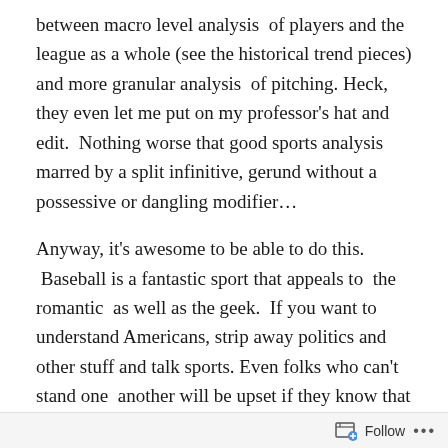between macro level analysis  of players and the league as a whole (see the historical trend pieces) and more granular analysis  of pitching. Heck, they even let me put on my professor's hat and edit.  Nothing worse that good sports analysis marred by a split infinitive, gerund without a possessive or dangling modifier…
Anyway, it's awesome to be able to do this.  Baseball is a fantastic sport that appeals to  the romantic  as well as the geek.  If you want to understand Americans, strip away politics and other stuff and talk sports. Even folks who can't stand one  another will be upset if they know that even a sworn enemy is eating turkey and watching football  alone on Thanksgiving…  Sports get us through long winters and hot  summers.  Noah Syndergaard said it
Follow ···